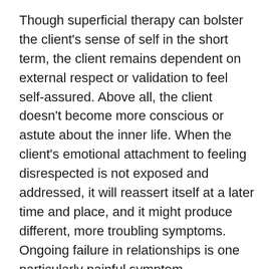Though superficial therapy can bolster the client's sense of self in the short term, the client remains dependent on external respect or validation to feel self-assured. Above all, the client doesn't become more conscious or astute about the inner life. When the client's emotional attachment to feeling disrespected is not exposed and addressed, it will reassert itself at a later time and place, and it might produce different, more troubling symptoms. Ongoing failure in relationships is one particularly painful symptom.
It's true, of course, that talk therapy and the